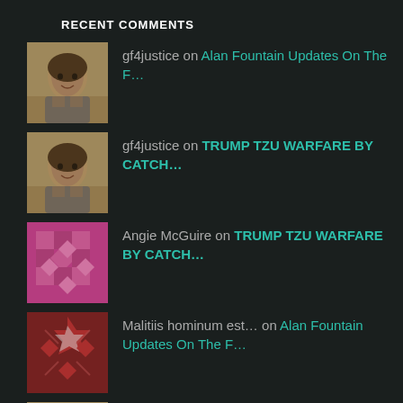RECENT COMMENTS
gf4justice on Alan Fountain Updates On The F…
gf4justice on TRUMP TZU WARFARE BY CATCH…
Angie McGuire on TRUMP TZU WARFARE BY CATCH…
Malitiis hominum est… on Alan Fountain Updates On The F…
gf4justice on AMERICA'S REAL HISTORY OF DEBT…
ARCHIVES
August 2022